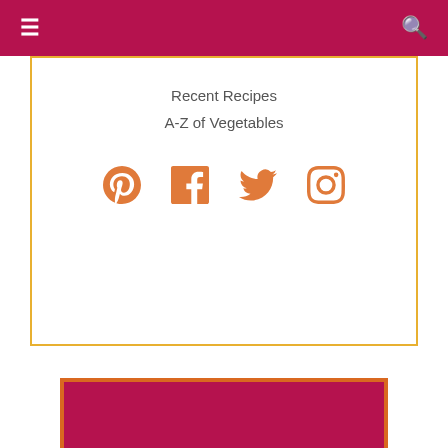Navigation bar with menu (hamburger) and search icons
Recent Recipes
A-Z of Vegetables
[Figure (infographic): Social media icons: Pinterest, Facebook, Twitter, Instagram in orange color]
Recipe Box
NEVER MISS A RECIPE!
Email input field and SUBSCRIBE button